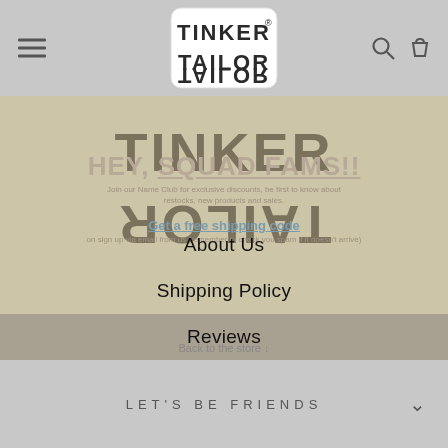[Figure (logo): Tinker Tailor logo in top navigation bar, small sticker-style logo centered]
[Figure (logo): Large Tinker Tailor logo watermark in background overlay area]
HEY, SQUAD FAMS!!
Join our Name Club for exclusive discounts, be first to know about restocks, new products and sales.
Get a free shipping code
on sign up via email from us (remember to check you spam if it doesn't arrive)
About Us
Shipping Policy
Reviews
Contact Us
Search
Back to the store ↓
LET'S BE FRIENDS